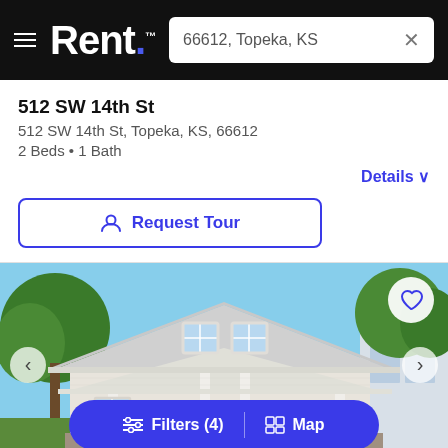Rent. — 66612, Topeka, KS
512 SW 14th St
512 SW 14th St, Topeka, KS, 66612
2 Beds • 1 Bath
Details
Request Tour
[Figure (photo): Exterior photo of a single-story bungalow-style house with white siding, a covered front porch with columns, a brown front door, and two upper-floor windows, surrounded by green trees]